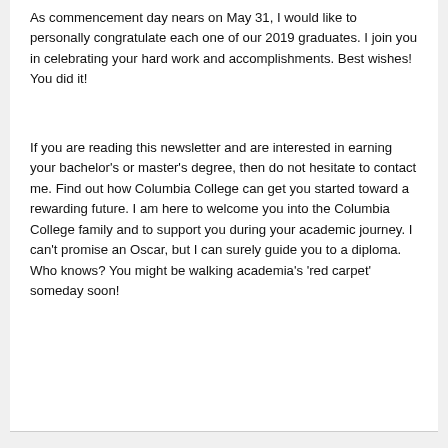As commencement day nears on May 31, I would like to personally congratulate each one of our 2019 graduates. I join you in celebrating your hard work and accomplishments. Best wishes! You did it!
If you are reading this newsletter and are interested in earning your bachelor's or master's degree, then do not hesitate to contact me. Find out how Columbia College can get you started toward a rewarding future. I am here to welcome you into the Columbia College family and to support you during your academic journey. I can't promise an Oscar, but I can surely guide you to a diploma. Who knows? You might be walking academia's 'red carpet' someday soon!